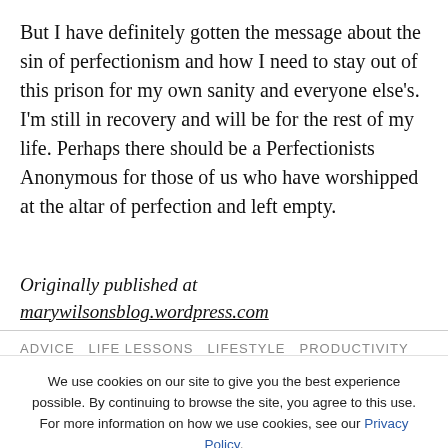But I have definitely gotten the message about the sin of perfectionism and how I need to stay out of this prison for my own sanity and everyone else's. I'm still in recovery and will be for the rest of my life. Perhaps there should be a Perfectionists Anonymous for those of us who have worshipped at the altar of perfection and left empty.
Originally published at marywilsonsblog.wordpress.com
ADVICE  LIFE LESSONS  LIFESTYLE  PRODUCTIVITY
We use cookies on our site to give you the best experience possible. By continuing to browse the site, you agree to this use. For more information on how we use cookies, see our Privacy Policy.
CONTINUE